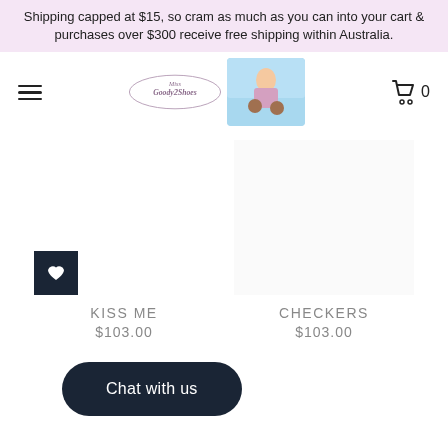Shipping capped at $15, so cram as much as you can into your cart & purchases over $300 receive free shipping within Australia.
[Figure (logo): Miss Goody 2 Shoes logo in an oval shape with decorative text, plus a character illustration photo next to it]
[Figure (illustration): Black square with a white heart icon — wishlist button]
KISS ME
$103.00
CHECKERS
$103.00
Chat with us